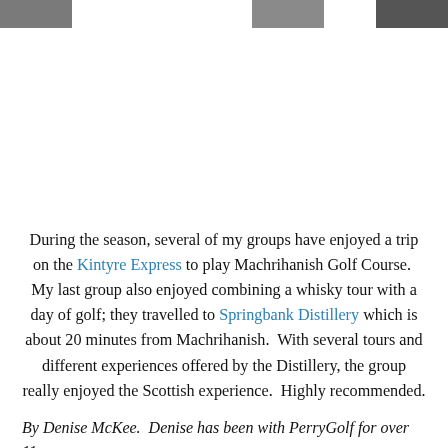[Figure (photo): Partial view of three photo thumbnails at the top of the page — left, center, and right — appearing cropped at the top edge.]
During the season, several of my groups have enjoyed a trip on the Kintyre Express to play Machrihanish Golf Course. My last group also enjoyed combining a whisky tour with a day of golf; they travelled to Springbank Distillery which is about 20 minutes from Machrihanish. With several tours and different experiences offered by the Distillery, the group really enjoyed the Scottish experience. Highly recommended.
By Denise McKee. Denise has been with PerryGolf for over 11